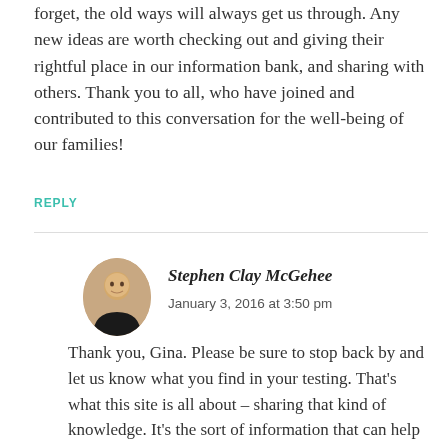forget, the old ways will always get us through. Any new ideas are worth checking out and giving their rightful place in our information bank, and sharing with others. Thank you to all, who have joined and contributed to this conversation for the well-being of our families!
REPLY
Stephen Clay McGehee
January 3, 2016 at 3:50 pm
Thank you, Gina. Please be sure to stop back by and let us know what you find in your testing. That's what this site is all about – sharing that kind of knowledge. It's the sort of information that can help us get our families through some very hard times ahead. It's a great feeling knowing that what we share here could make a real difference.